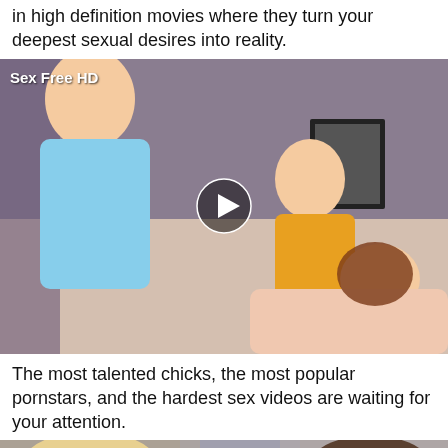in high definition movies where they turn your deepest sexual desires into reality.
[Figure (photo): Video thumbnail labeled 'Sex Free HD' showing adult content with play button overlay]
The most talented chicks, the most popular pornstars, and the hardest sex videos are waiting for your attention.
[Figure (photo): Video thumbnail labeled 'HD Porn Tube. Free XXX Sex Videos Galore! Hot Porno Movies Gratis!' showing adult content]